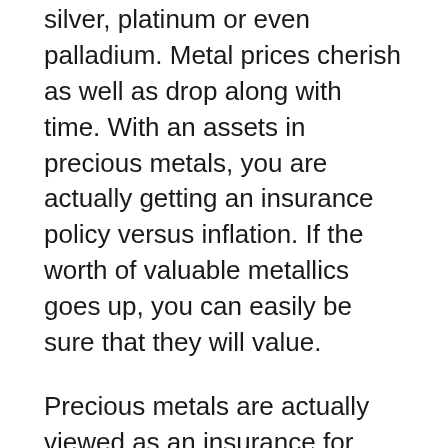silver, platinum or even palladium. Metal prices cherish as well as drop along with time. With an assets in precious metals, you are actually getting an insurance policy versus inflation. If the worth of valuable metallics goes up, you can easily be sure that they will value.
Precious metals are actually viewed as an insurance for your properties. This is actually because, unlike fiat money, the value of both silver and gold typically transfer inverse to the general economy. Nevertheless, when the securities market are down, silver as well as gold often tend to become down an action. When the supply markets wreck, valuable metallics acquire a whole new appeal, as found with the Great Recession.